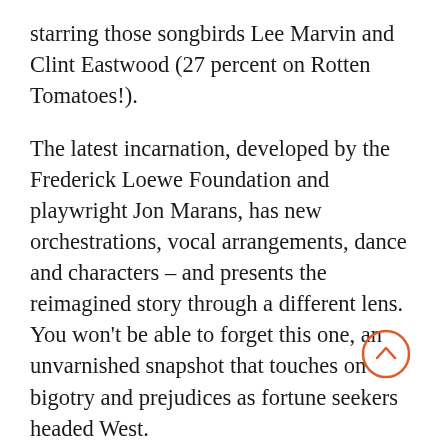starring those songbirds Lee Marvin and Clint Eastwood (27 percent on Rotten Tomatoes!).
The latest incarnation, developed by the Frederick Loewe Foundation and playwright Jon Marans, has new orchestrations, vocal arrangements, dance and characters – and presents the reimagined story through a different lens. You won't be able to forget this one, an unvarnished snapshot that touches on bigotry and prejudices as fortune seekers headed West.
Photo by Phillip HamerMarans has focused on historical accuracy and made deep